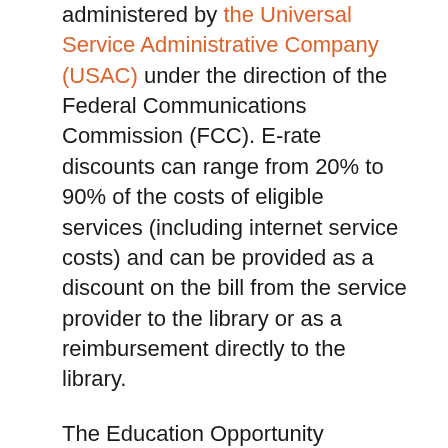administered by the Universal Service Administrative Company (USAC) under the direction of the Federal Communications Commission (FCC). E-rate discounts can range from 20% to 90% of the costs of eligible services (including internet service costs) and can be provided as a discount on the bill from the service provider to the library or as a reimbursement directly to the library.
The Education Opportunity Resource (EOR) Act, as stated in Idaho Code §33-5602 through 33-5605, makes the Idaho Commission for Libraries (ICfL) responsible for reimbursing Idaho public libraries for the after E-rate discount portion of approved broadband services. These state broadband reimbursements are available to